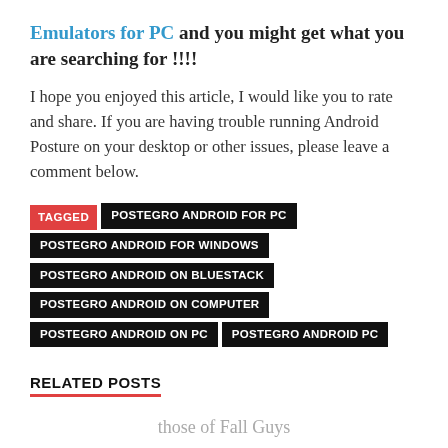Emulators for PC and you might get what you are searching for !!!!
I hope you enjoyed this article, I would like you to rate and share. If you are having trouble running Android Posture on your desktop or other issues, please leave a comment below.
TAGGED  POSTEGRO ANDROID FOR PC  POSTEGRO ANDROID FOR WINDOWS  POSTEGRO ANDROID ON BLUESTACK  POSTEGRO ANDROID ON COMPUTER  POSTEGRO ANDROID ON PC  POSTEGRO ANDROID PC
RELATED POSTS
those of Fall Guys